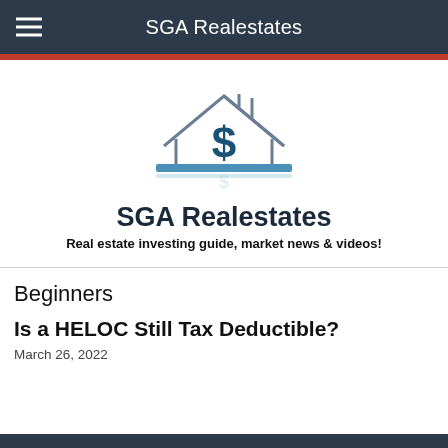SGA Realestates
[Figure (logo): SGA Realestates logo: a house outline with a dollar sign inside, and a horizontal blue bar beneath it, with a reflection effect]
SGA Realestates
Real estate investing guide, market news & videos!
Beginners
Is a HELOC Still Tax Deductible?
March 26, 2022